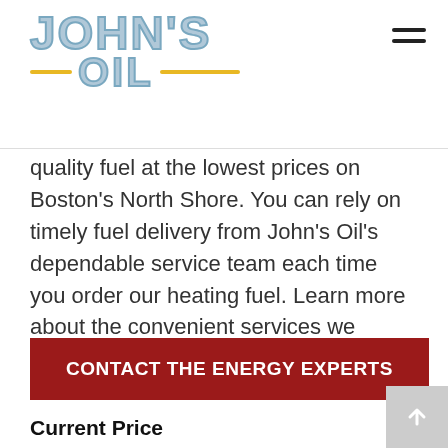[Figure (logo): John's Oil company logo with light blue outlined block letters and gold horizontal lines flanking the word OIL]
quality fuel at the lowest prices on Boston's North Shore. You can rely on timely fuel delivery from John's Oil's dependable service team each time you order our heating fuel. Learn more about the convenient services we provide Middleton, MA, homeowners and business owners below!
CONTACT THE ENERGY EXPERTS
Current Price
Heating Oil – $4.69 PER GALLON
CASH OR CREDIT – SAME LOW PRICE
50 GAL $269.5 includes fee